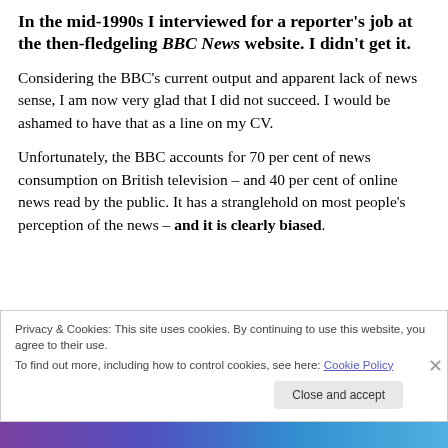In the mid-1990s I interviewed for a reporter's job at the then-fledgeling BBC News website. I didn't get it.
Considering the BBC's current output and apparent lack of news sense, I am now very glad that I did not succeed. I would be ashamed to have that as a line on my CV.
Unfortunately, the BBC accounts for 70 per cent of news consumption on British television – and 40 per cent of online news read by the public. It has a stranglehold on most people's perception of the news – and it is clearly biased.
Privacy & Cookies: This site uses cookies. By continuing to use this website, you agree to their use.
To find out more, including how to control cookies, see here: Cookie Policy